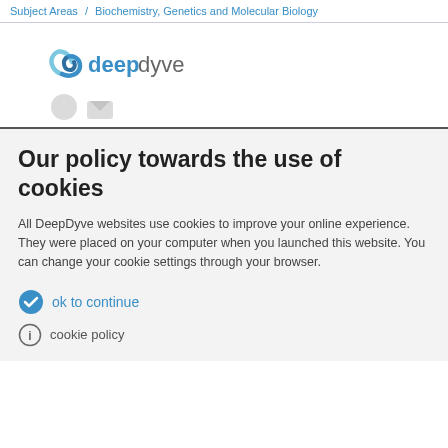Subject Areas / Biochemistry, Genetics and Molecular Biology
[Figure (logo): DeepDyve logo with swirl icon in blue and teal, text 'deepdyve']
Our policy towards the use of cookies
All DeepDyve websites use cookies to improve your online experience. They were placed on your computer when you launched this website. You can change your cookie settings through your browser.
ok to continue
cookie policy